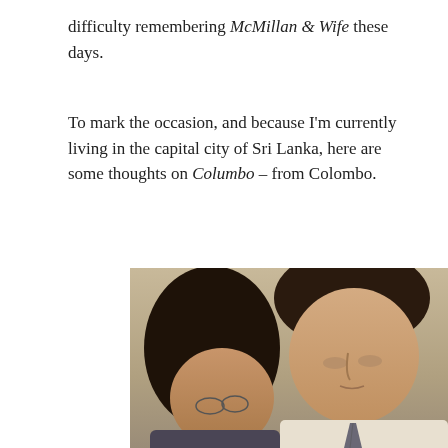difficulty remembering McMillan & Wife these days.
To mark the occasion, and because I'm currently living in the capital city of Sri Lanka, here are some thoughts on Columbo – from Colombo.
[Figure (photo): A still from the TV show Columbo showing two people facing each other — a curly-haired person on the left and a tall dark-haired man on the right wearing a white shirt and tie.]